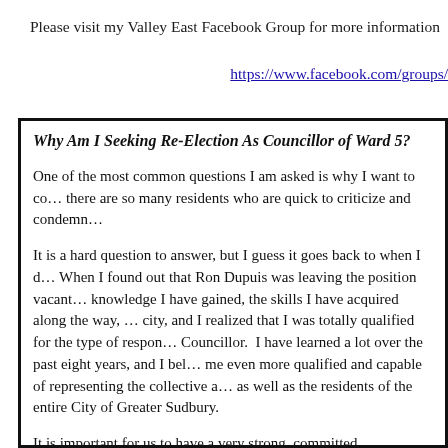Please visit my Valley East Facebook Group for more information
https://www.facebook.com/groups/
Why Am I Seeking Re-Election As Councillor of Ward 5?
One of the most common questions I am asked is why I want to co… there are so many residents who are quick to criticize and condemn…
It is a hard question to answer, but I guess it goes back to when I d… When I found out that Ron Dupuis was leaving the position vacant… knowledge I have gained, the skills I have acquired along the way, … city, and I realized that I was totally qualified for the type of respon… Councillor. I have learned a lot over the past eight years, and I bel… me even more qualified and capable of representing the collective a… as well as the residents of the entire City of Greater Sudbury.
It is important for us to have a very strong, committed, experienced… members who are strong enough to make evidence-based decisions… Greater Sudbury and then maintain our position regardless of oppo… changes that require a change in direction. I have demonstrated tha… decisions and I am strong enough to withstand public lobbyists wh… representatives on Council who are not going to compromise just…